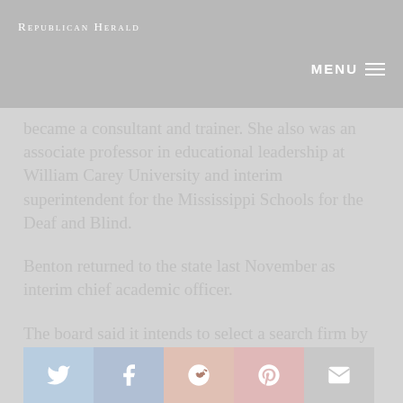Republican Herald | MENU
became a consultant and trainer. She also was an associate professor in educational leadership at William Carey University and interim superintendent for the Mississippi Schools for the Deaf and Blind.
Benton returned to the state last November as interim chief academic officer.
The board said it intends to select a search firm by July 1 and begin interviewing candidates in the fall for a permanent superintendent.
[Figure (other): Social sharing buttons: Twitter, Facebook, Reddit, Pinterest, Email]